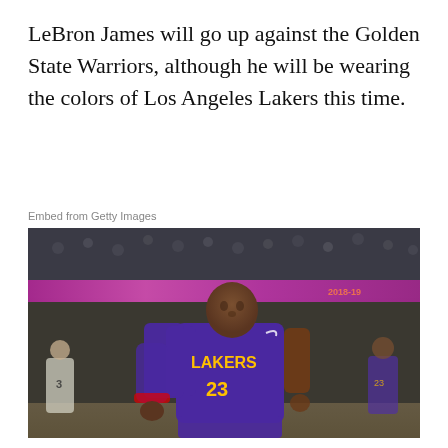LeBron James will go up against the Golden State Warriors, although he will be wearing the colors of Los Angeles Lakers this time.
Embed from Getty Images
[Figure (photo): LeBron James wearing a purple Los Angeles Lakers jersey number 23, looking upward on a basketball court with crowd in the background. A pink/magenta scoreboard band is visible in the upper portion.]